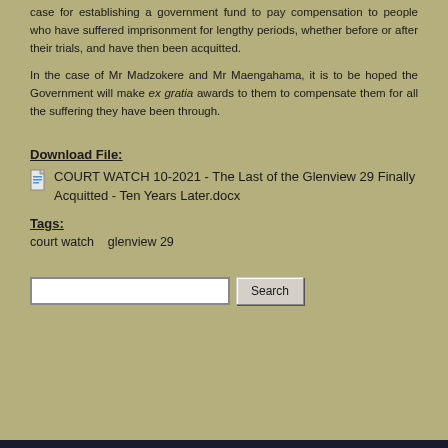case for establishing a government fund to pay compensation to people who have suffered imprisonment for lengthy periods, whether before or after their trials, and have then been acquitted.
In the case of Mr Madzokere and Mr Maengahama, it is to be hoped the Government will make ex gratia awards to them to compensate them for all the suffering they have been through.
Download File:
COURT WATCH 10-2021 - The Last of the Glenview 29 Finally Acquitted - Ten Years Later.docx
Tags:
court watch   glenview 29